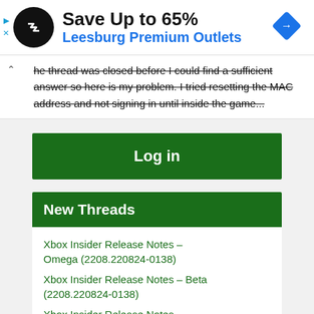[Figure (infographic): Advertisement banner: black circular logo with double arrow, 'Save Up to 65%' in bold black, 'Leesburg Premium Outlets' in blue, blue diamond navigation icon on right, play/close controls on left]
he thread was closed before I could find a sufficient answer so here is my problem. I tried resetting the MAC address and not signing in until inside the game...
Log in
New Threads
Xbox Insider Release Notes – Omega (2208.220824-0138)
Xbox Insider Release Notes – Beta (2208.220824-0138)
Xbox Insider Release Notes – Delta (2208.220824-0138)